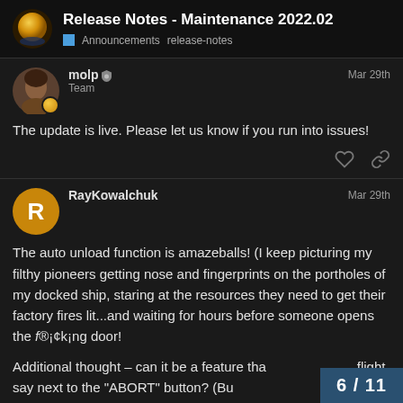Release Notes - Maintenance 2022.02 | Announcements release-notes
molp ◐ Team — Mar 29th
The update is live. Please let us know if you run into issues!
RayKowalchuk — Mar 29th
The auto unload function is amazeballs! (I keep picturing my filthy pioneers getting nose and fingerprints on the portholes of my docked ship, staring at the resources they need to get their factory fires lit...and waiting for hours before someone opens the f®¡¢k¡ng door!
Additional thought – can it be a feature tha flight, say next to the "ABORT" button? (Bu